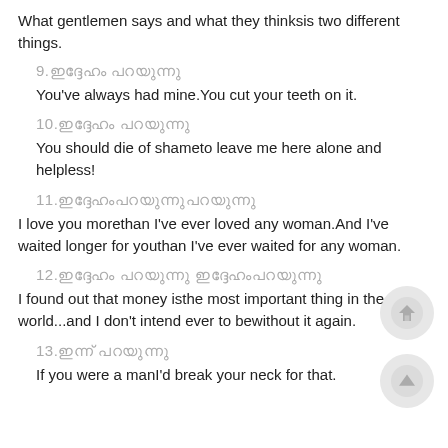What gentlemen says and what they thinksis two different things.
9.ഇദ്ദേഹം പറയുന്നു
You've always had mine.You cut your teeth on it.
10.ഇദ്ദേഹം പറയുന്നു
You should die of shameto leave me here alone and helpless!
11.ഇദ്ദേഹംപറയുന്നുപറയുന്നു
I love you morethan I've ever loved any woman.And I've waited longer for youthan I've ever waited for any woman.
12.ഇദ്ദേഹം പറയുന്നു ഇദ്ദേഹംപറയുന്നു
I found out that money isthe most important thing in the world...and I don't intend ever to bewithout it again.
13.ഇന്ന് പറയുന്നു
If you were a manI'd break your neck for that.